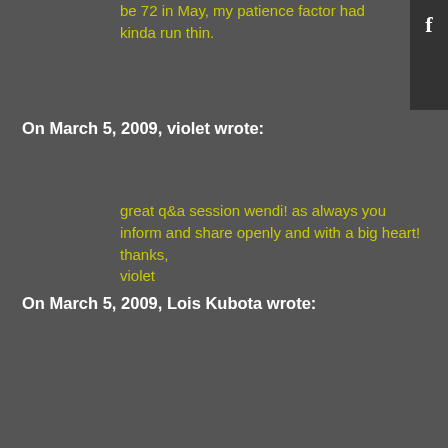be 72 in May, my patience factor had kinda run thin.
On March 5, 2009, violet wrote:
great q&a session wendi! as always you inform and share openly and with a big heart! thanks,
violet
On March 5, 2009, Lois Kubota wrote:
Hi Wendi. Thanks for the sharing. BTW, I have been doing the juicing for 3 days in a row now. My juice includes wheatgrass, apple, carrots and ginger. What a tasty start to my day. I feel great, even better than before. I have been making a smoothie and taking it to work with me to have a couple hours later when I feel hungry.
On March 5, 2009, Cindy wrote:
Just to give a little of my experience going